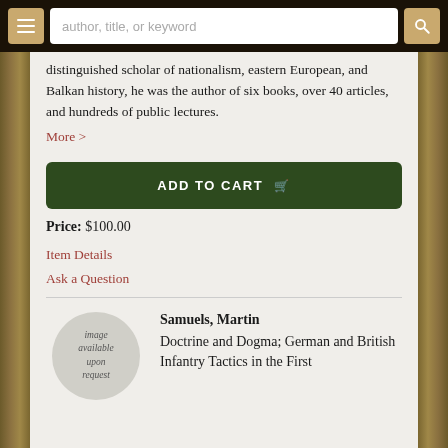author, title, or keyword
distinguished scholar of nationalism, eastern European, and Balkan history, he was the author of six books, over 40 articles, and hundreds of public lectures. More >
ADD TO CART
Price: $100.00
Item Details
Ask a Question
[Figure (illustration): Circular image placeholder with text 'image available upon request']
Samuels, Martin
Doctrine and Dogma; German and British Infantry Tactics in the First